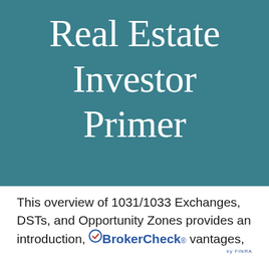Real Estate Investor Primer
This overview of 1031/1033 Exchanges, DSTs, and Opportunity Zones provides an introduction, BrokerCheck® vantages,